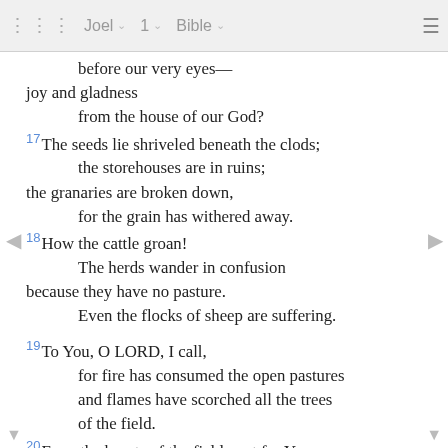Joel 1 Bible
before our very eyes—
joy and gladness
from the house of our God?
17The seeds lie shriveled beneath the clods;
the storehouses are in ruins;
the granaries are broken down,
for the grain has withered away.
18How the cattle groan!
The herds wander in confusion
because they have no pasture.
Even the flocks of sheep are suffering.
19To You, O LORD, I call,
for fire has consumed the open pastures
and flames have scorched all the trees
of the field.
20Even the beasts of the field pant for You,
for the streams of water have dried up